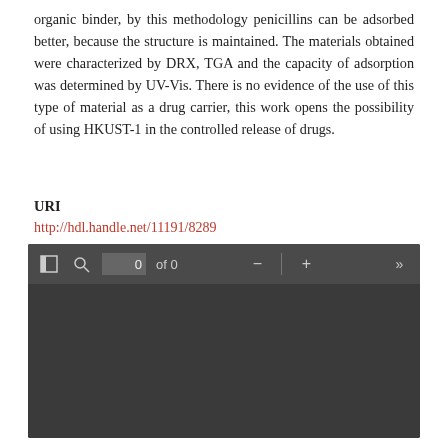organic binder, by this methodology penicillins can be adsorbed better, because the structure is maintained. The materials obtained were characterized by DRX, TGA and the capacity of adsorption was determined by UV-Vis. There is no evidence of the use of this type of material as a drug carrier, this work opens the possibility of using HKUST-1 in the controlled release of drugs.
URI
http://hdl.handle.net/11191/8289
[Figure (screenshot): PDF viewer toolbar and dark empty viewer area showing '0 of 0' pages with navigation controls (sidebar toggle, search, page input, minus, plus, next buttons)]